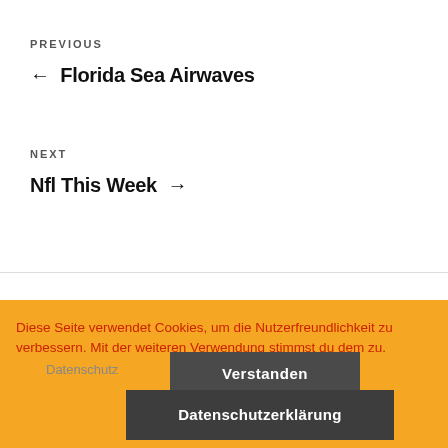PREVIOUS
← Florida Sea Airwaves
NEXT
Nfl This Week →
Diese Seite verwendet Cookies, um die Nutzerfreundlichkeit zu verbessern. Mit der weiteren Verwendung stimmst du dem zu.
Datenschutz
Verstanden
Datenschutzerklärung